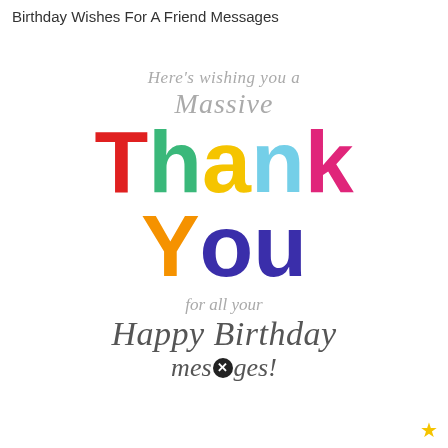Birthday Wishes For A Friend Messages
[Figure (illustration): Colorful 'Thank You' greeting card graphic with scripted text reading 'Here's wishing you a Massive Thank You for all your Happy Birthday messages!' The word 'Thank' is spelled out in large block letters each in a different color (red T, green h, yellow a, light blue n, pink k), and 'You' in orange Y and dark purple ou. Surrounding text is in gray italic script style.]